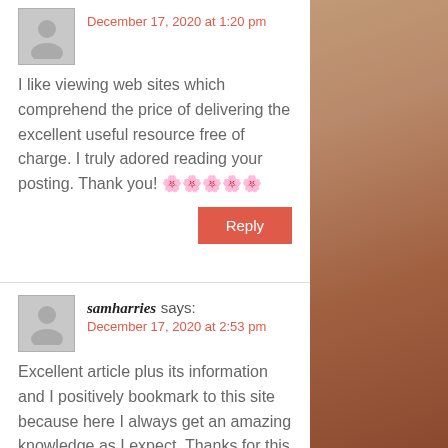December 17, 2020 at 1:20 pm
I like viewing web sites which comprehend the price of delivering the excellent useful resource free of charge. I truly adored reading your posting. Thank you! 🌸🌸🌸🌸🌸
Reply
samharries says:
December 17, 2020 at 2:53 pm
Excellent article plus its information and I positively bookmark to this site because here I always get an amazing knowledge as I expect. Thanks for this to share.